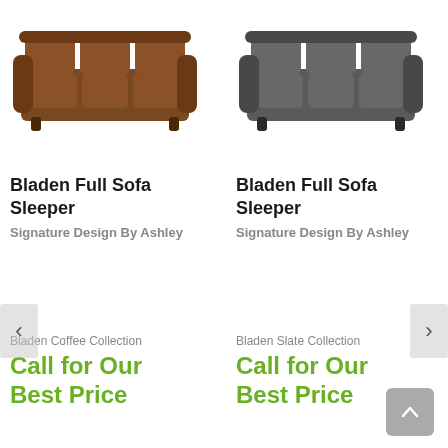[Figure (photo): Brown leather sofa - Bladen Full Sofa Sleeper in coffee color, three-seater with rolled arms]
Bladen Full Sofa Sleeper
Signature Design By Ashley
[Figure (photo): Dark grey/slate leather sofa - Bladen Full Sofa Sleeper in slate color, three-seater with rolled arms]
Bladen Full Sofa Sleeper
Signature Design By Ashley
Bladen Coffee Collection
Call for Our Best Price
Bladen Slate Collection
Call for Our Best Price